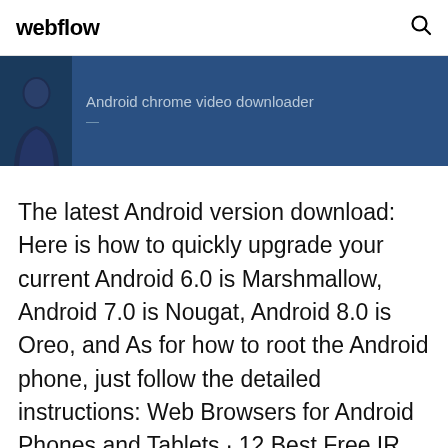webflow
[Figure (screenshot): Dark blue banner with user avatar silhouette and text 'Android chrome video downloader']
The latest Android version download: Here is how to quickly upgrade your current Android 6.0 is Marshmallow, Android 7.0 is Nougat, Android 8.0 is Oreo, and As for how to root the Android phone, just follow the detailed instructions: Web Browsers for Android Phones and Tablets · 12 Best Free IR Universal Remote  In this guide, I listed